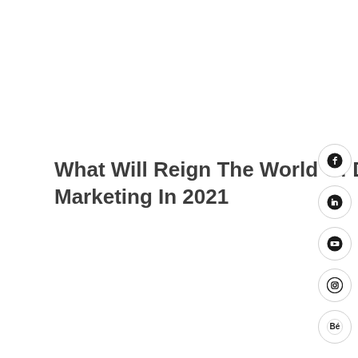What Will Reign The World Of Digital Marketing In 2021
[Figure (infographic): Social media icons arranged vertically on the right side: Facebook, LinkedIn, YouTube, Instagram, Behance — each inside a circular button with gray border]